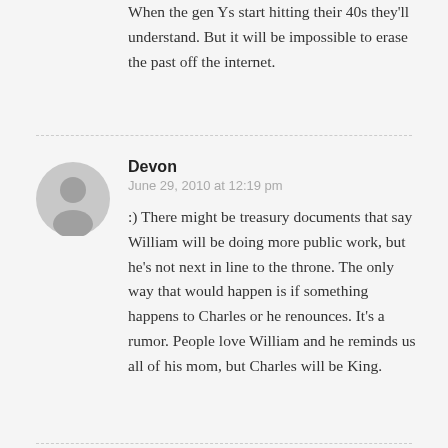When the gen Ys start hitting their 40s they'll understand. But it will be impossible to erase the past off the internet.
Devon
June 29, 2010 at 12:19 pm
[Figure (illustration): Generic user avatar - grey circle with silhouette of a person]
:) There might be treasury documents that say William will be doing more public work, but he's not next in line to the throne. The only way that would happen is if something happens to Charles or he renounces. It's a rumor. People love William and he reminds us all of his mom, but Charles will be King.